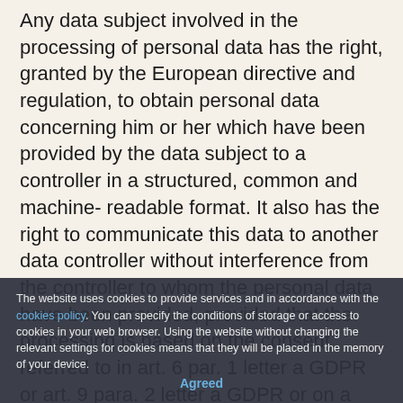Any data subject involved in the processing of personal data has the right, granted by the European directive and regulation, to obtain personal data concerning him or her which have been provided by the data subject to a controller in a structured, common and machine- readable format. It also has the right to communicate this data to another data controller without interference from the controller to whom the personal data have been provided, provided that the processing is based on the consent referred to in art. 6 par. 1 letter a GDPR or art. 9 para. 2 letter a GDPR or on a contract referred to in art. 6 par. 1 letter b GDPR and to obtain this data by public interest or in the exercise of official
The website uses cookies to provide services and in accordance with the cookies policy. You can specify the conditions of storage or access to cookies in your web browser. Using the website without changing the relevant settings for cookies means that they will be placed in the memory of your device.